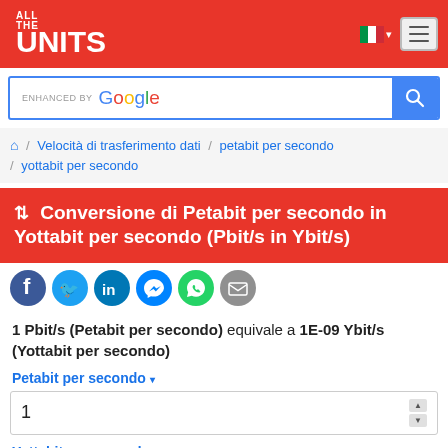[Figure (logo): ALL THE UNITS logo in white text on red background]
[Figure (screenshot): Search bar with ENHANCED BY Google text and blue search button]
🏠 / Velocità di trasferimento dati / petabit per secondo / yottabit per secondo
⇅ Conversione di Petabit per secondo in Yottabit per secondo (Pbit/s in Ybit/s)
[Figure (infographic): Social sharing icons: Facebook, Twitter, LinkedIn, Messenger, WhatsApp, Email]
1 Pbit/s (Petabit per secondo) equivale a 1E-09 Ybit/s (Yottabit per secondo)
Petabit per secondo ▾
1
Yottabit per secondo ▾